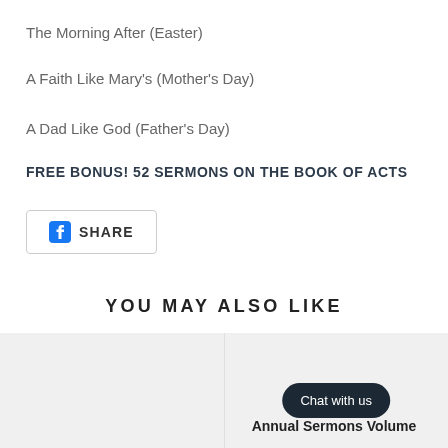The Morning After (Easter)
A Faith Like Mary's (Mother's Day)
A Dad Like God (Father's Day)
FREE BONUS! 52 SERMONS ON THE BOOK OF ACTS
[Figure (other): Facebook Share button with rounded rectangle border]
YOU MAY ALSO LIKE
[Figure (other): Two product card thumbnails side by side with gray backgrounds; right card has a Chat with us button overlay]
Annual Sermons Volume